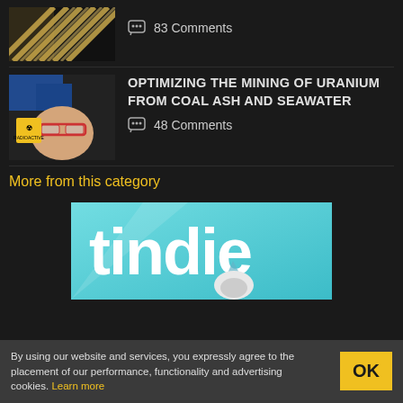83 Comments
[Figure (photo): Thumbnail image with radiating lines pattern in gold and white]
OPTIMIZING THE MINING OF URANIUM FROM COAL ASH AND SEAWATER
48 Comments
[Figure (photo): Person wearing safety glasses and blue gloves holding a radioactive warning sign]
More from this category
[Figure (logo): Tindie logo banner with teal background and white text 'tindie' with cartoon dog]
By using our website and services, you expressly agree to the placement of our performance, functionality and advertising cookies. Learn more